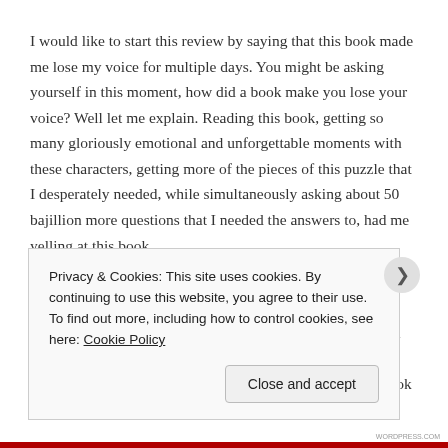I would like to start this review by saying that this book made me lose my voice for multiple days. You might be asking yourself in this moment, how did a book make you lose your voice? Well let me explain. Reading this book, getting so many gloriously emotional and unforgettable moments with these characters, getting more of the pieces of this puzzle that I desperately needed, while simultaneously asking about 50 bajillion more questions that I needed the answers to, had me yelling at this book.
Literally.
There were so many shocking turn of events, so many mind blowing reveals in this book, so many effing amazing emotionally breathtaking pieces brought together in this book that I literally lost my voice from how
Privacy & Cookies: This site uses cookies. By continuing to use this website, you agree to their use.
To find out more, including how to control cookies, see here: Cookie Policy
Close and accept